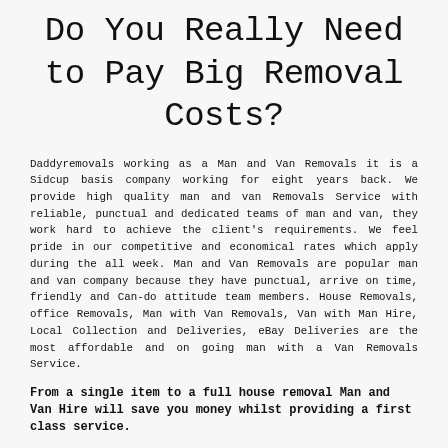Do You Really Need to Pay Big Removal Costs?
Daddyremovals working as a Man and Van Removals it is a Sidcup basis company working for eight years back. We provide high quality man and van Removals Service with reliable, punctual and dedicated teams of man and van, they work hard to achieve the client's requirements. We feel pride in our competitive and economical rates which apply during the all week. Man and Van Removals are popular man and van company because they have punctual, arrive on time, friendly and Can-do attitude team members. House Removals, office Removals, Man with Van Removals, Van with Man Hire, Local Collection and Deliveries, eBay Deliveries are the most affordable and on going man with a Van Removals Service.
From a single item to a full house removal Man and Van Hire will save you money whilst providing a first class service.